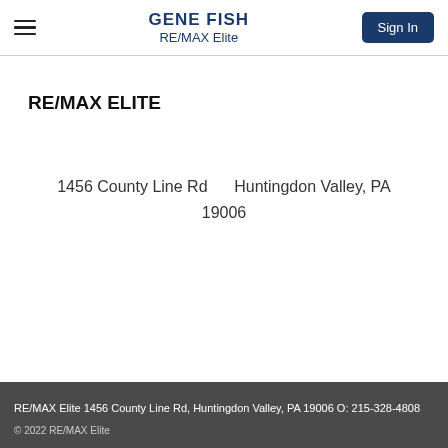GENE FISH RE/MAX Elite Sign In
RE/MAX ELITE
1456 County Line Rd      Huntingdon Valley, PA 19006
RE/MAX Elite 1456 County Line Rd, Huntingdon Valley, PA 19006 O: 215-328-4808
© 2022 RE/MAX Elite